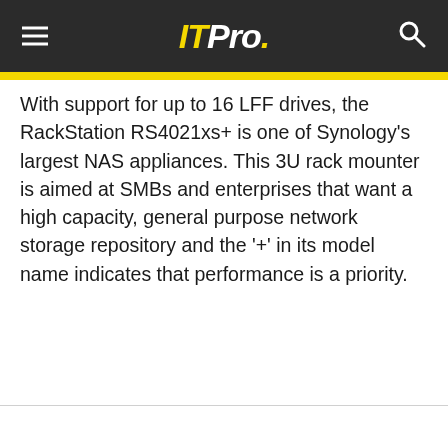ITPro.
With support for up to 16 LFF drives, the RackStation RS4021xs+ is one of Synology's largest NAS appliances. This 3U rack mounter is aimed at SMBs and enterprises that want a high capacity, general purpose network storage repository and the '+' in its model name indicates that performance is a priority.